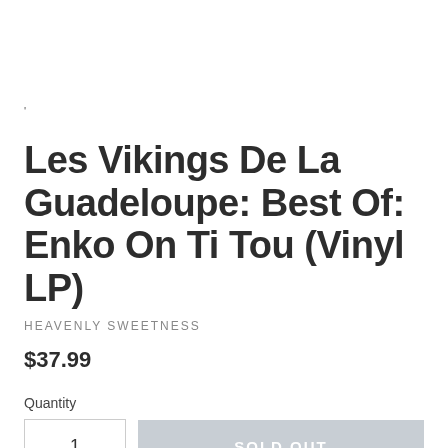'
Les Vikings De La Guadeloupe: Best Of: Enko On Ti Tou (Vinyl LP)
HEAVENLY SWEETNESS
$37.99
Quantity
1
SOLD OUT
Usually ships in 3-6 business days